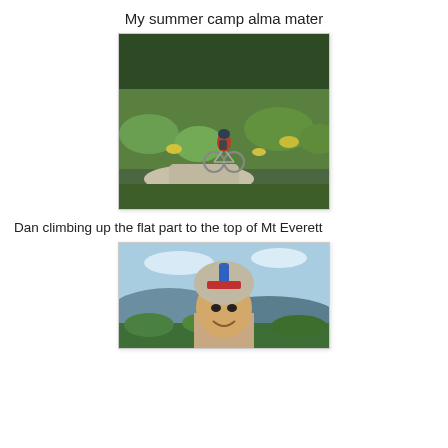My summer camp alma mater
[Figure (photo): A mountain biker in a red jersey and helmet riding along a gravel path through lush green wildflower meadows with forest in the background.]
Dan climbing up the flat part to the top of Mt Everett
[Figure (photo): A man in a cycling helmet smiling at the camera on a mountain top with expansive mountain and forest views in the background under a partly cloudy sky.]